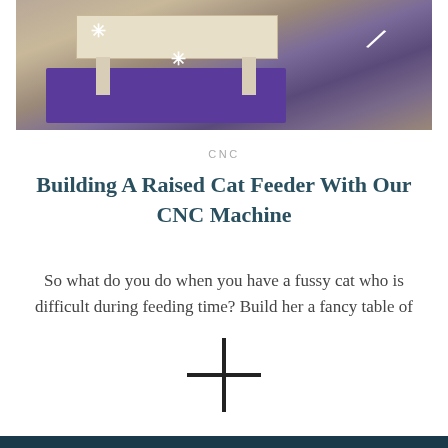[Figure (photo): Photograph of a raised cat feeder — a white wooden table with legs sitting on a purple mat on tile floor, with sparkle/star decorations overlaid]
CNC
Building A Raised Cat Feeder With Our CNC Machine
So what do you do when you have a fussy cat who is difficult during feeding time? Build her a fancy table of
[Figure (other): Plus sign / cross icon indicating more content or a button to expand]